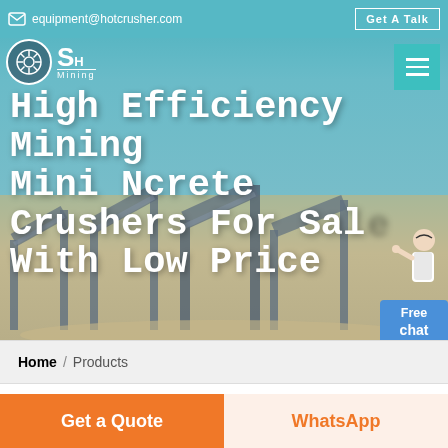equipment@hotcrusher.com | Get A Talk
[Figure (screenshot): Hero banner with mining crusher machinery in background, teal sky, industrial conveyor belt equipment]
High Efficiency Mining Mini Ncrete Crushers For Sale With Low Price
Home / Products
Diff...
Get a Quote
WhatsApp